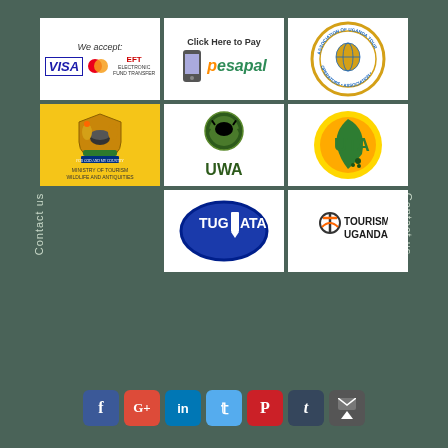Contact us
Contact us
[Figure (logo): Payment logos: We accept VISA, Mastercard, EFT]
[Figure (logo): Click Here to Pay - pesapal mobile payment logo]
[Figure (logo): Association of Uganda Tour Operators circular logo]
[Figure (logo): Ministry of Tourism Wildlife and Antiquities Uganda coat of arms logo on yellow background]
[Figure (logo): UWA - Uganda Wildlife Authority logo with animal crest]
[Figure (logo): UTA - Uganda Tour Agents logo, yellow circle with green text]
[Figure (logo): TUGATA - oval blue logo]
[Figure (logo): Tourism Uganda logo]
[Figure (infographic): Social media icons: Facebook, Google+, LinkedIn, Twitter, Pinterest, Tumblr, Email/back-to-top]